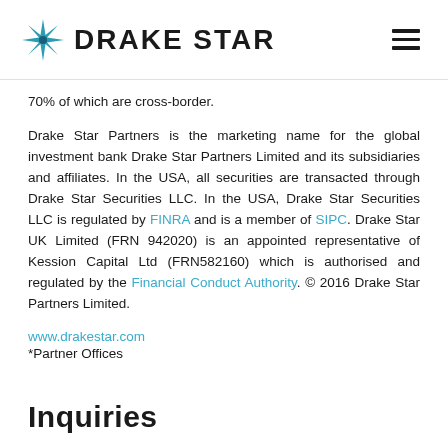DRAKE STAR
70% of which are cross-border.
Drake Star Partners is the marketing name for the global investment bank Drake Star Partners Limited and its subsidiaries and affiliates. In the USA, all securities are transacted through Drake Star Securities LLC. In the USA, Drake Star Securities LLC is regulated by FINRA and is a member of SIPC. Drake Star UK Limited (FRN 942020) is an appointed representative of Kession Capital Ltd (FRN582160) which is authorised and regulated by the Financial Conduct Authority. © 2016 Drake Star Partners Limited.
www.drakestar.com
*Partner Offices
Inquiries